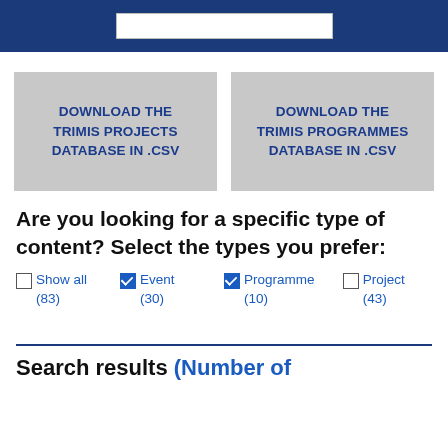[Figure (screenshot): Dark blue header bar with white search input box]
DOWNLOAD THE TRIMIS PROJECTS DATABASE IN .CSV
DOWNLOAD THE TRIMIS PROGRAMMES DATABASE IN .CSV
Are you looking for a specific type of content? Select the types you prefer:
☐ Show all (83)
☑ Event (30)
☑ Programme (10)
☐ Project (43)
Search results (Number of